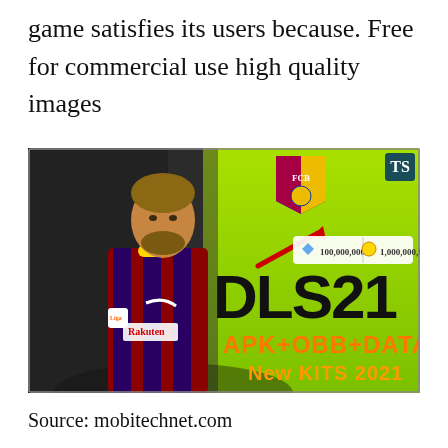game satisfies its users because. Free for commercial use high quality images
[Figure (photo): DLS 21 (Dream League Soccer 2021) promotional banner showing a football player in FC Barcelona kit (Messi) on a bright green background, with the FC Barcelona crest, a currency display showing 100,000,000 diamonds and 1,000,000,000 coins, large text DLS21, and subtext APK+OBB+DATA New KITS 2021]
Source: mobitechnet.com